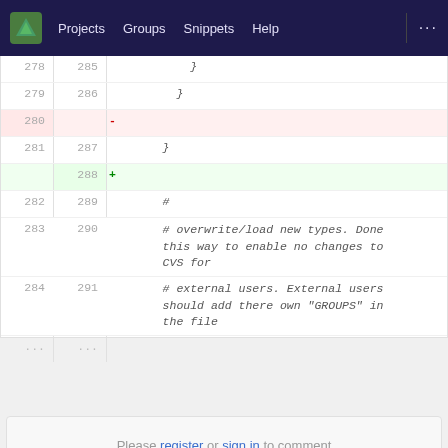Projects  Groups  Snippets  Help
[Figure (screenshot): GitLab code diff view showing lines 278-291 with a deleted line (280: '-') and added line (288: '+'), plus comment lines with Ruby/Python-style comments about overwriting/loading new types and external users.]
Please register or sign in to comment